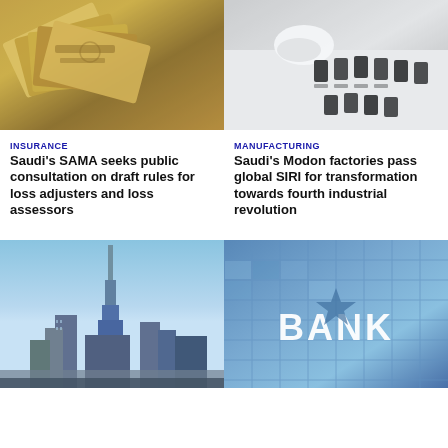[Figure (photo): Close-up of Saudi Riyal currency banknotes fanned out]
[Figure (photo): Person in white gloves arranging small black items on a white surface in a manufacturing/testing setting]
INSURANCE
Saudi's SAMA seeks public consultation on draft rules for loss adjusters and loss assessors
MANUFACTURING
Saudi's Modon factories pass global SIRI for transformation towards fourth industrial revolution
[Figure (photo): Aerial skyline view of Dubai with Burj Khalifa and surrounding skyscrapers against a clear blue sky]
[Figure (photo): Glass facade of a bank building with large BANK lettering]